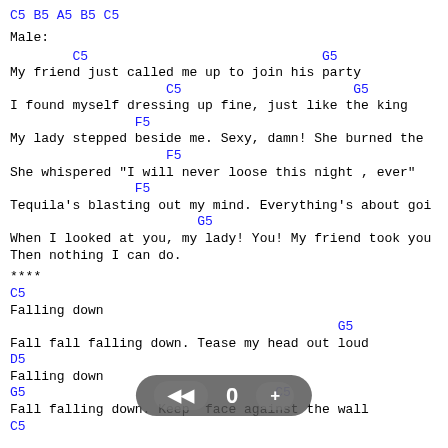C5 B5 A5 B5 C5
Male:
C5                              G5                     C5
My friend just called me up to join his party
C5                      G5                          C5
I found myself dressing up fine, just like the king
F5                                             C5
My lady stepped beside me. Sexy, damn! She burned the
F5                                               C5
She whispered "I will never loose this night , ever"
F5                                             C5
Tequila's blasting out my mind. Everything's about goi
G5
When I looked at you, my lady! You! My friend took you
Then nothing I can do.
****
C5
Falling down
G5
Fall fall falling down. Tease my head out loud
D5
Falling down
G5                                C5                         F5 G5
Fall falling down. Keep face against the wall
C5